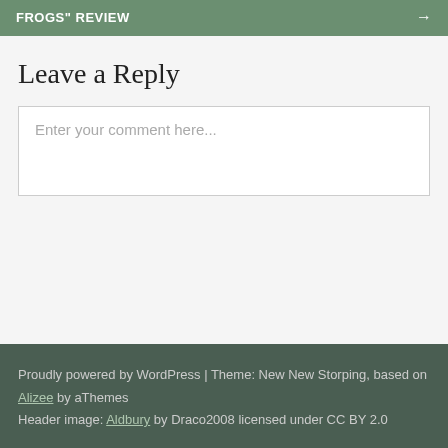FROGS" REVIEW →
Leave a Reply
Enter your comment here...
Proudly powered by WordPress | Theme: New New Storping, based on Alizee by aThemes Header image: Aldbury by Draco2008 licensed under CC BY 2.0